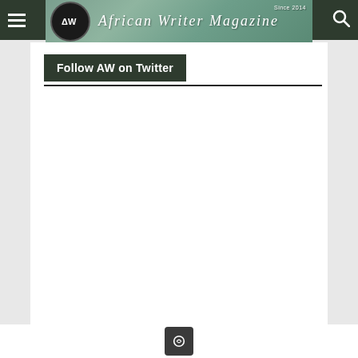African Writer Magazine — Since 2004
Follow AW on Twitter